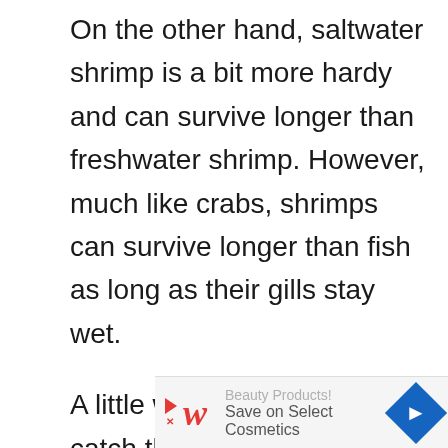On the other hand, saltwater shrimp is a bit more hardy and can survive longer than freshwater shrimp. However, much like crabs, shrimps can survive longer than fish as long as their gills stay wet.
A little water will help them catch their breath for a while. Still, the consequences of lack of oxygen are unknown because almost all the shrimp kept under certain circumstances get
[Figure (other): Advertisement banner for Walgreens Beauty Products - Save on Select Cosmetics]